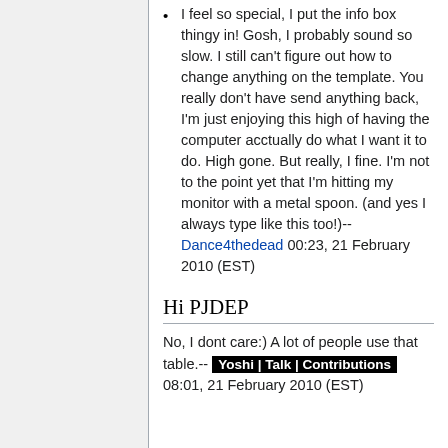I feel so special, I put the info box thingy in! Gosh, I probably sound so slow. I still can't figure out how to change anything on the template. You really don't have send anything back, I'm just enjoying this high of having the computer acctually do what I want it to do. High gone. But really, I fine. I'm not to the point yet that I'm hitting my monitor with a metal spoon. (and yes I always type like this too!)--Dance4thedead 00:23, 21 February 2010 (EST)
Hi PJDEP
No, I dont care:) A lot of people use that table.-- Yoshi | Talk | Contributions 08:01, 21 February 2010 (EST)